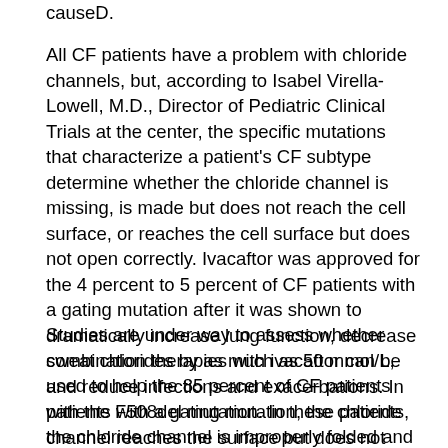causeD.
All CF patients have a problem with chloride channels, but, according to Isabel Virella-Lowell, M.D., Director of Pediatric Clinical Trials at the center, the specific mutations that characterize a patient's CF subtype determine whether the chloride channel is missing, is made but does not reach the cell surface, or reaches the cell surface but does not open correctly. Ivacaftor was approved for the 4 percent to 5 percent of CF patients with a gating mutation after it was shown to dramatically increase lung function, decrease sweat chlorides by as much as 50 mmol/L, and reduce infections and exacerbations. In patients with a gating mutation, the chloride channel reaches the surface but does not open correctly; ivacaftor binds to the chloride channel and holds it open.
Studies are under way to assess whether combination therapies with ivacaftor can be used to help the 85 percent of CF patients with the F508del mutation. In these patients, the chloride channel is improperly folded and cannot bind to the cell surface. A successful combination therapy would include an agent(s) to refold the chloride channel and ivacaftor to open the channel.